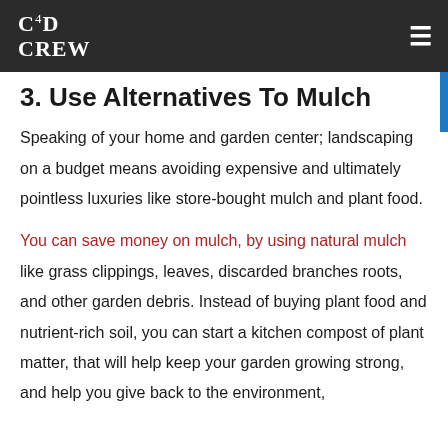C4D CREW
3. Use Alternatives To Mulch
Speaking of your home and garden center; landscaping on a budget means avoiding expensive and ultimately pointless luxuries like store-bought mulch and plant food.
You can save money on mulch, by using natural mulch like grass clippings, leaves, discarded branches roots, and other garden debris. Instead of buying plant food and nutrient-rich soil, you can start a kitchen compost of plant matter, that will help keep your garden growing strong, and help you give back to the environment,